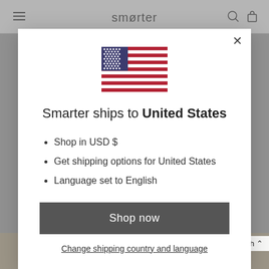smarter
[Figure (illustration): US flag SVG illustration centered in modal]
Smarter ships to United States
Shop in USD $
Get shipping options for United States
Language set to English
Shop now
Change shipping country and language